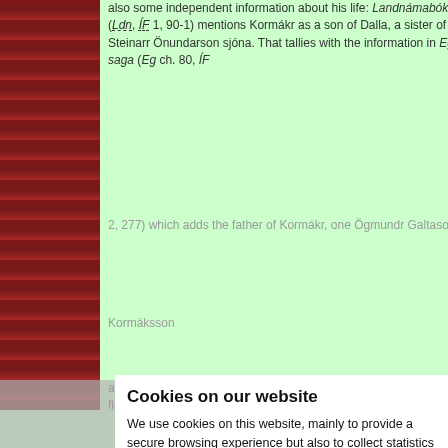also some independent information about his life: Landnámabók (Ldn, ÍF 1, 90-1) mentions Kormákr as a son of Dalla, a sister of Steinarr Önundarson sjóna. That tallies with the information in Egils saga (Eg ch. 80, ÍF 2, 277) which adds the father of Kormákr, one Ögmundr Galtason
Kormáksson
and Þorgils are mentioned in (Gr ch. as þeir in Miðfjörður and as fighting with Grettir. However, it is
Cookies on our website
We use cookies on this website, mainly to provide a secure browsing experience but also to collect statistics on how the website is used. You can find out more about the cookies we set, the information we store and how we use it on the cookies page.
Continue
texts: ‹LaufE 159 (391)›, ‹LaufE 159 (391) ‹SnE 245›
editions: Skj Kormákr Ögmundarson: 1. 4 (AI, 79; BI, 69); Skald I, 42, NN §2218B 97, I, 428-9, II, 330, 440, 590, III, 91-2